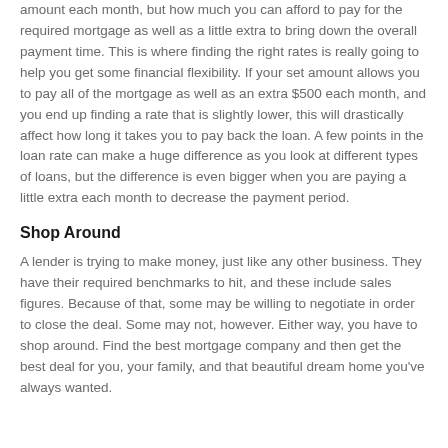amount each month, but how much you can afford to pay for the required mortgage as well as a little extra to bring down the overall payment time. This is where finding the right rates is really going to help you get some financial flexibility. If your set amount allows you to pay all of the mortgage as well as an extra $500 each month, and you end up finding a rate that is slightly lower, this will drastically affect how long it takes you to pay back the loan. A few points in the loan rate can make a huge difference as you look at different types of loans, but the difference is even bigger when you are paying a little extra each month to decrease the payment period.
Shop Around
A lender is trying to make money, just like any other business. They have their required benchmarks to hit, and these include sales figures. Because of that, some may be willing to negotiate in order to close the deal. Some may not, however. Either way, you have to shop around. Find the best mortgage company and then get the best deal for you, your family, and that beautiful dream home you've always wanted.